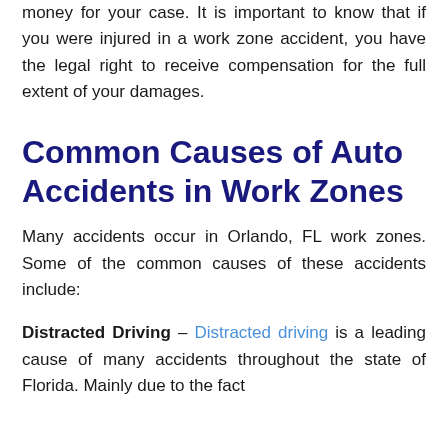money for your case. It is important to know that if you were injured in a work zone accident, you have the legal right to receive compensation for the full extent of your damages.
Common Causes of Auto Accidents in Work Zones
Many accidents occur in Orlando, FL work zones. Some of the common causes of these accidents include:
Distracted Driving – Distracted driving is a leading cause of many accidents throughout the state of Florida. Mainly due to the fact